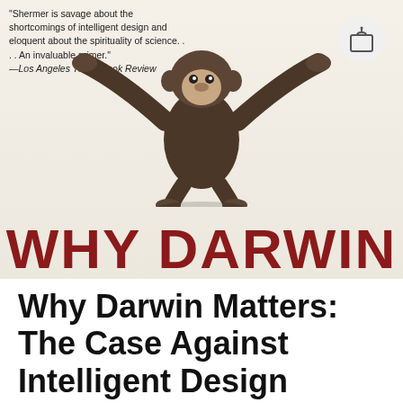[Figure (illustration): Book cover of 'Why Darwin Matters: The Case Against Intelligent Design' showing a chimpanzee with outstretched arms, a quote from Los Angeles Times Book Review, and bold red text reading 'WHY DARWIN' at the bottom. A shopping bag icon appears in the top right corner.]
Why Darwin Matters: The Case Against Intelligent Design
BIOLOGY
CHARLES DARWIN
RELIGION
REVIEWS
By Steven C. Scheer | August 15, 2022 | No Comments